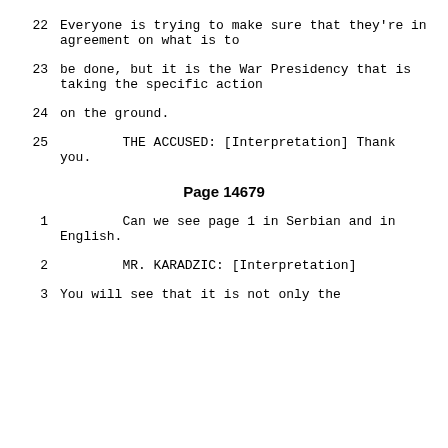22    Everyone is trying to make sure that they're in agreement on what is to
23    be done, but it is the War Presidency that is taking the specific action
24    on the ground.
25    THE ACCUSED: [Interpretation] Thank you.
Page 14679
1    Can we see page 1 in Serbian and in English.
2    MR. KARADZIC: [Interpretation]
3    You will see that it is not only the